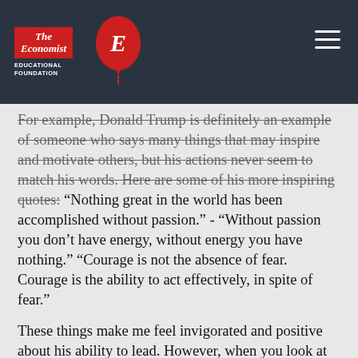The Economist Educational Foundation
For example, Donald Trump is definitely an example of someone who says many things that may inspire and motivate others, but his actions never seem to match his words. Here are some of his more inspiring quotes: “Nothing great in the world has been accomplished without passion.” - “Without passion you don’t have energy, without energy you have nothing.” “Courage is not the absence of fear. Courage is the ability to act effectively, in spite of fear.”
These things make me feel invigorated and positive about his ability to lead. However, when you look at what he’s actually done, I feel